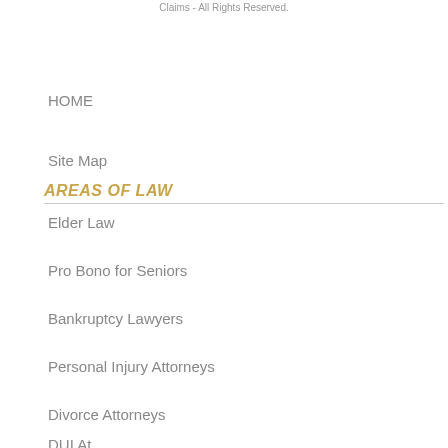Claims - All Rights Reserved.
HOME
Site Map
AREAS OF LAW
Elder Law
Pro Bono for Seniors
Bankruptcy Lawyers
Personal Injury Attorneys
Divorce Attorneys
DUI At...